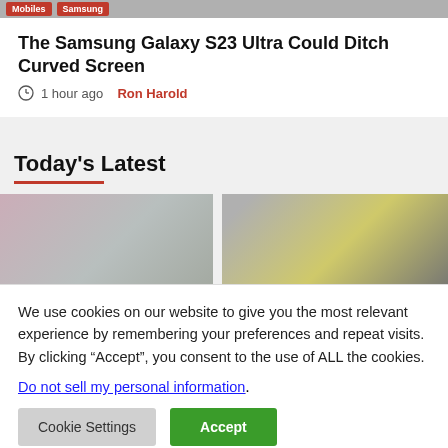Mobiles | Samsung
The Samsung Galaxy S23 Ultra Could Ditch Curved Screen
1 hour ago  Ron Harold
Today's Latest
[Figure (photo): Two side-by-side article thumbnail images: left shows pink and grey colored device surfaces, right shows a yellow-bordered dark smartwatch or device]
We use cookies on our website to give you the most relevant experience by remembering your preferences and repeat visits. By clicking “Accept”, you consent to the use of ALL the cookies.
Do not sell my personal information.
Cookie Settings  Accept